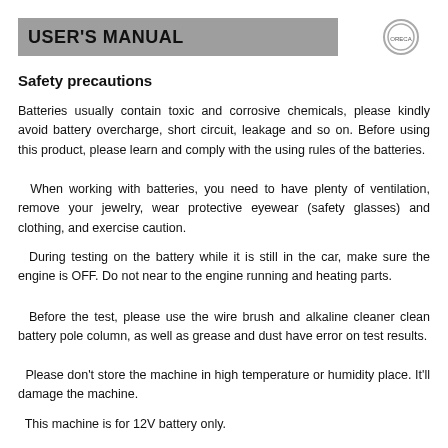USER'S MANUAL
Safety precautions
Batteries usually contain toxic and corrosive chemicals, please kindly avoid battery overcharge, short circuit, leakage and so on. Before using this product, please learn and comply with the using rules of the batteries.
When working with batteries, you need to have plenty of ventilation, remove your jewelry, wear protective eyewear (safety glasses) and clothing, and exercise caution.
During testing on the battery while it is still in the car, make sure the engine is OFF. Do not near to the engine running and heating parts.
Before the test, please use the wire brush and alkaline cleaner clean battery pole column, as well as grease and dust have error on test results.
Please don't store the machine in high temperature or humidity place. It'll damage the machine.
This machine is for 12V battery only.